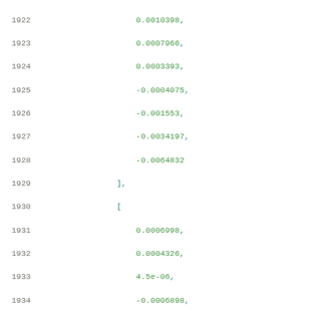Code listing lines 1922–1943 showing array values and JSON keys: related_pin, rise_power,power_outputs_1, index_1